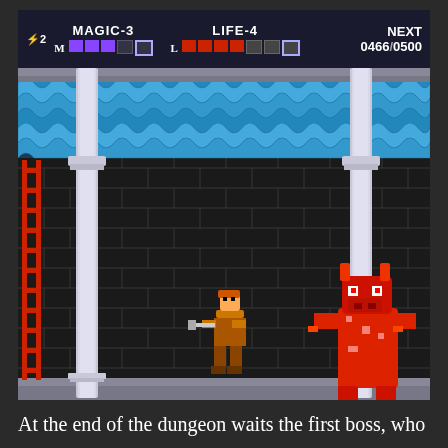[Figure (screenshot): NES/Famicom-style dungeon game screenshot showing a dark stone brick dungeon room with blue wave decorations at top, two white stone columns, red ladder on the left wall, a player character (brown/orange sprite) in the center, and a red horse-like boss enemy on the right. HUD at top shows MAGIC-3 bar, LIFE-4 bar with red segments, and NEXT score 0466/0500.]
At the end of the dungeon waits the first boss, who